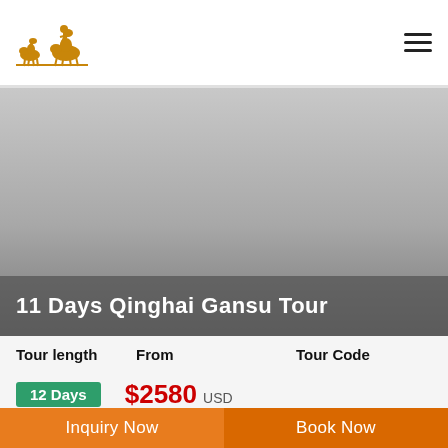Logo: camel caravan illustration | Hamburger menu icon
[Figure (photo): Hero image area with gray gradient background representing a landscape or tour destination photo]
11 Days Qinghai Gansu Tour
| Tour length | From | Tour Code |
| --- | --- | --- |
| 12 Days | $2580 USD |  |
Inquiry Now
Book Now